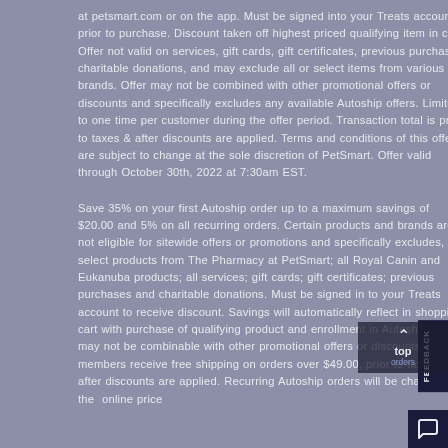at petsmart.com or on the app. Must be signed into your Treats account prior to purchase. Discount taken off highest priced qualifying item in cart. Offer not valid on services, gift cards, gift certificates, previous purchases, charitable donations, and may exclude all or select items from various brands. Offer may not be combined with other promotional offers or discounts and specifically excludes any available Autoship offers. Limited to one time per customer during the offer period. Transaction total is prior to taxes & after discounts are applied. Terms and conditions of this offer are subject to change at the sole discretion of PetSmart. Offer valid through October 30th, 2022 at 7:30am EST.
Save 35% on your first Autoship order up to a maximum savings of $20.00 and 5% on all recurring orders. Certain products and brands are not eligible for sitewide offers or promotions and specifically excludes, select products from The Pharmacy at PetSmart; all Royal Canin and Eukanuba products; all services; gift cards; gift certificates; previous purchases and charitable donations. Must be signed in to your Treats account to receive discount. Savings will automatically reflect in shopping cart with purchase of qualifying product and enrollment in Autoship. Offer may not be combinable with other promotional offers or discounts. Treats members receive free shipping on orders over $49.00, prior to taxes & after discounts are applied. Recurring Autoship orders will be charged the online price